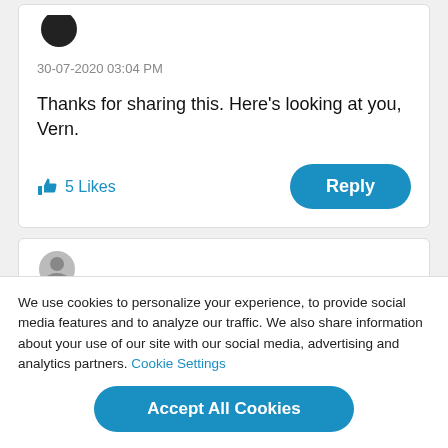[Figure (photo): User avatar - dark circular profile picture, partially cropped at top]
30-07-2020 03:04 PM
Thanks for sharing this. Here's looking at you, Vern.
5 Likes
Reply
[Figure (photo): Partial second comment card with grey avatar, cropped]
We use cookies to personalize your experience, to provide social media features and to analyze our traffic. We also share information about your use of our site with our social media, advertising and analytics partners. Cookie Settings
Accept All Cookies